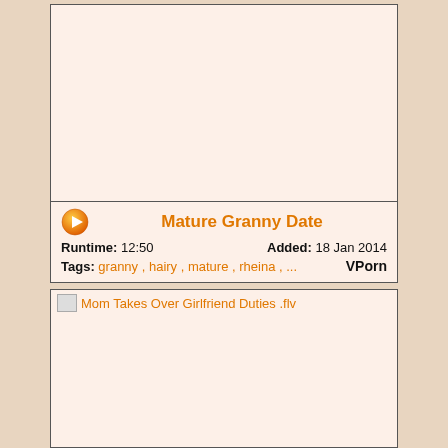[Figure (other): Video thumbnail placeholder (blank/light area) for Mature Granny Date]
Mature Granny Date
Runtime: 12:50   Added: 18 Jan 2014
Tags: granny , hairy , mature , rheina , ...   VPorn
[Figure (other): Video thumbnail placeholder for Mom Takes Over Girlfriend Duties .flv]
Mom Takes Over Girlfriend Duties .flv